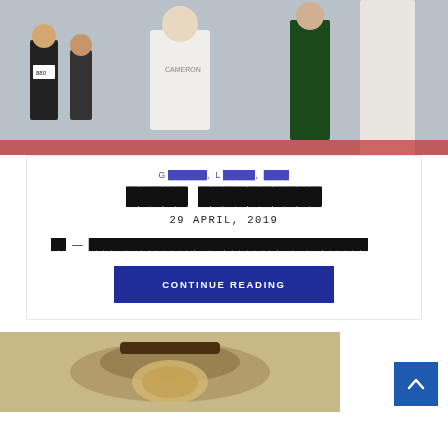[Figure (photo): Runners at a marathon event, including a young person wearing a 'CAMERON' shirt and race number bibs, crowd in background]
G ██████, L █████, ████
█████ ██████████
29 APRIL, 2019
██ — ████████████████████████████████████
CONTINUE READING
[Figure (photo): Partial bottom image showing what appears to be athletic/running gear, possibly a medal or watch strap]